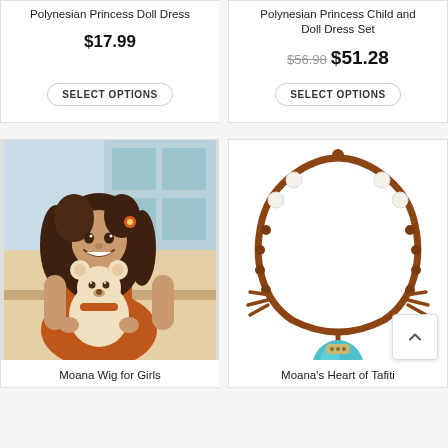Polynesian Princess Doll Dress
$17.99
SELECT OPTIONS
Polynesian Princess Child and Doll Dress Set
$56.98 $51.28
SELECT OPTIONS
[Figure (photo): Girl with long curly dark hair wearing an orange dress, holding a white teddy bear dressed in matching orange outfit. Kitchen background.]
Moana Wig for Girls
[Figure (photo): Moana's Heart of Tafiti necklace — a brown braided cord necklace with white beads and a blue teardrop-shaped pendant with a spiral motif.]
Moana's Heart of Tafiti